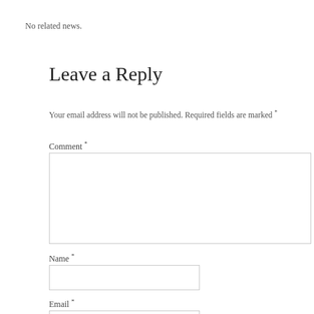No related news.
Leave a Reply
Your email address will not be published. Required fields are marked *
Comment *
Name *
Email *